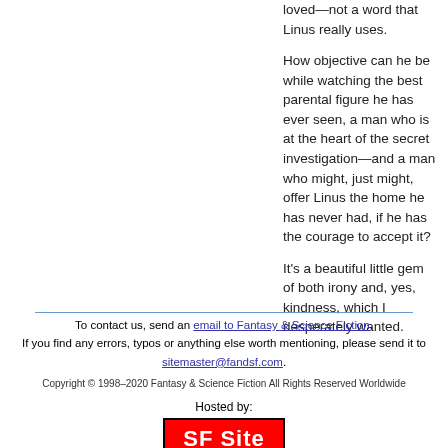loved—not a word that Linus really uses.

How objective can he be while watching the best parental figure he has ever seen, a man who is at the heart of the secret investigation—and a man who might, just might, offer Linus the home he has never had, if he has the courage to accept it?

It's a beautiful little gem of both irony and, yes, kindness, which I desperately wanted.
To contact us, send an email to Fantasy & Science Fiction. If you find any errors, typos or anything else worth mentioning, please send it to sitemaster@fandsf.com.

Copyright © 1998–2020 Fantasy & Science Fiction All Rights Reserved Worldwide

Hosted by: SF Site